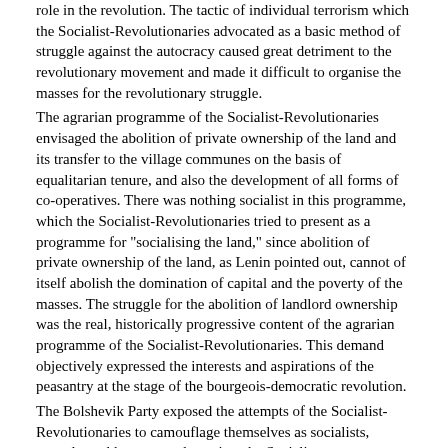role in the revolution. The tactic of individual terrorism which the Socialist-Revolutionaries advocated as a basic method of struggle against the autocracy caused great detriment to the revolutionary movement and made it difficult to organise the masses for the revolutionary struggle.
    The agrarian programme of the Socialist-Revolutionaries envisaged the abolition of private ownership of the land and its transfer to the village communes on the basis of equalitarian tenure, and also the development of all forms of co-operatives. There was nothing socialist in this programme, which the Socialist-Revolutionaries tried to present as a programme for "socialising the land," since abolition of private ownership of the land, as Lenin pointed out, cannot of itself abolish the domination of capital and the poverty of the masses. The struggle for the abolition of landlord ownership was the real, historically progressive content of the agrarian programme of the Socialist-Revolutionaries. This demand objectively expressed the interests and aspirations of the peasantry at the stage of the bourgeois-democratic revolution.
    The Bolshevik Party exposed the attempts of the Socialist-Revolutionaries to camouflage themselves as socialists, waged a stubborn struggle against the Socialist-Revolutionaries to gain influence over the peasantry, and laid bare the harmful consequences for the working-class movement of their tactic of individual terrorism. At the same time, on definite conditions, the Bolsheviks concluded temporary agreements with the Socialist-Revolutionaries in the struggle against tsarism.
    In the final analysis, the absence of class homogeneousness in the peasantry was responsible for the political and ideological instability and organisational confusion in the Socialist-Revolutionary party, and their constant vacillation between the liberal bourgeoisie and the proletariat. There was a split in the Socialist-Revolutionary Party already in the years of the first Russian revolution; its Right wing formed the legal Labour